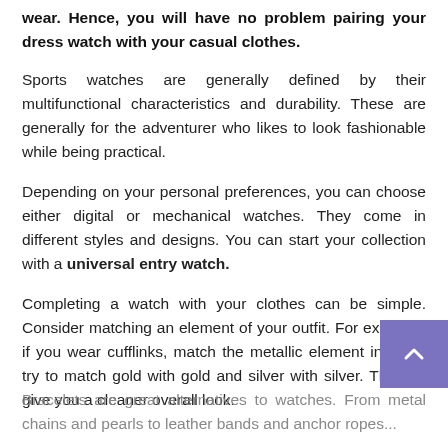wear. Hence, you will have no problem pairing your dress watch with your casual clothes.
Sports watches are generally defined by their multifunctional characteristics and durability. These are generally for the adventurer who likes to look fashionable while being practical.
Depending on your personal preferences, you can choose either digital or mechanical watches. They come in different styles and designs. You can start your collection with a universal entry watch.
Completing a watch with your clothes can be simple. Consider matching an element of your outfit. For example, if you wear cufflinks, match the metallic element in it. So try to match gold with gold and silver with silver. This will give you a cleaner overall look.
Bracelets are great alternatives to watches. From metal chains and pearls to leather bands and anchor ropes...